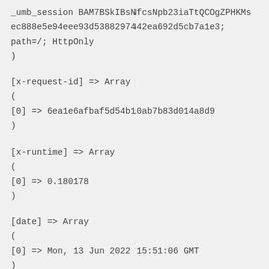_umb_session BAM7BSkIBsNfcsNpb23iaTtQCOgZPHKMs ec888e5e94eee93d5388297442ea692d5cb7a1e3; path=/; HttpOnly )
[x-request-id] => Array ( [0] => 6ea1e6afbaf5d54b10ab7b83d014a8d9 )
[x-runtime] => Array ( [0] => 0.180178 )
[date] => Array ( [0] => Mon, 13 Jun 2022 15:51:06 GMT )